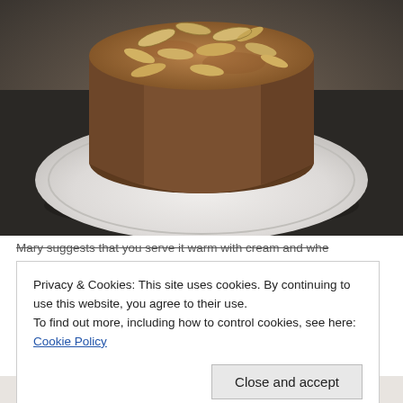[Figure (photo): A round brown cake topped with sliced almonds, sitting on a white cake stand/plate against a dark background.]
Mary suggests that you serve it warm with cream and whe
Privacy & Cookies: This site uses cookies. By continuing to use this website, you agree to their use.
To find out more, including how to control cookies, see here: Cookie Policy
Close and accept
[Figure (photo): Partial view of a white plate or bowl at the bottom of the page.]